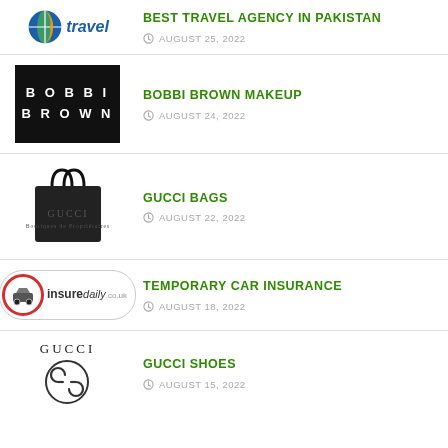BEST TRAVEL AGENCY IN PAKISTAN — AUGUST 25, 2022
BOBBI BROWN MAKEUP — AUGUST 24, 2022
GUCCI BAGS — AUGUST 22, 2022
TEMPORARY CAR INSURANCE — AUGUST 18, 2022
GUCCI SHOES — AUGUST 15, 2022